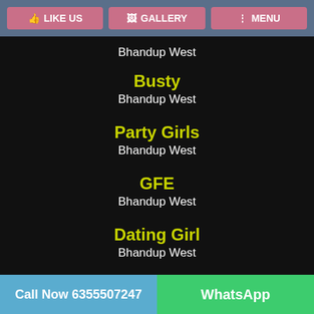LIKE US | GALLERY | MENU
Bhandup West
Busty
Bhandup West
Party Girls
Bhandup West
GFE
Bhandup West
Dating Girl
Bhandup West
Call Now 6355507247 | WhatsApp